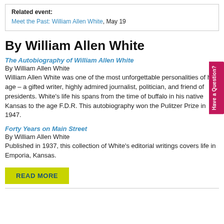Related event: Meet the Past: William Allen White, May 19
By William Allen White
The Autobiography of William Allen White
By William Allen White
William Allen White was one of the most unforgettable personalities of his age – a gifted writer, highly admired journalist, politician, and friend of presidents. White's life his spans from the time of buffalo in his native Kansas to the age F.D.R. This autobiography won the Pulitzer Prize in 1947.
Forty Years on Main Street
By William Allen White
Published in 1937, this collection of White's editorial writings covers life in Emporia, Kansas.
READ MORE